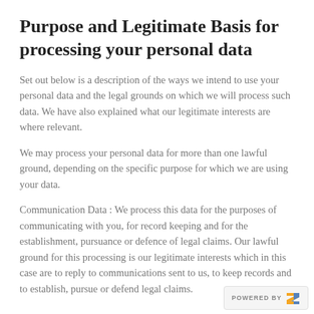Purpose and Legitimate Basis for processing your personal data
Set out below is a description of the ways we intend to use your personal data and the legal grounds on which we will process such data. We have also explained what our legitimate interests are where relevant.
We may process your personal data for more than one lawful ground, depending on the specific purpose for which we are using your data.
Communication Data : We process this data for the purposes of communicating with you, for record keeping and for the establishment, pursuance or defence of legal claims. Our lawful ground for this processing is our legitimate interests which in this case are to reply to communications sent to us, to keep records and to establish, pursue or defend legal claims.